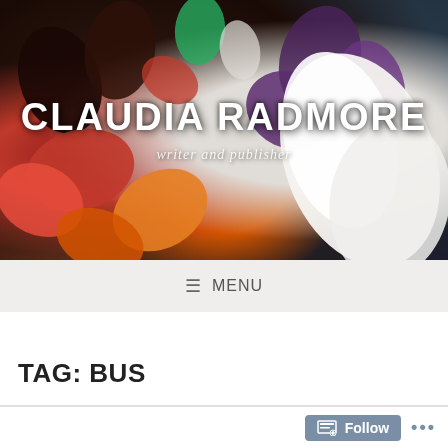[Figure (photo): Header photo of colorful flower petals (red, orange, white, purple, dark) with a large white calla lily or folded fabric in the foreground on the right side. Dark moody background.]
CLAUDIA RADMORE
writer and publisher
≡ MENU
TAG: BUS
Follow
•••